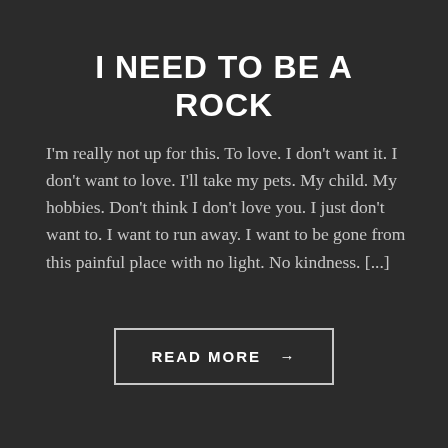I NEED TO BE A ROCK
I'm really not up for this. To love. I don't want it. I don't want to love. I'll take my pets. My child. My hobbies. Don't think I don't love you. I just don't want to. I want to run away. I want to be gone from this painful place with no light. No kindness. [...]
READ MORE →